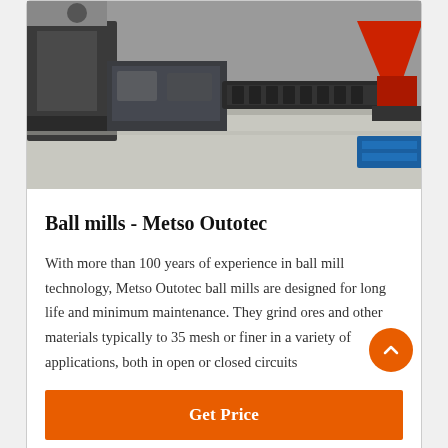[Figure (photo): Industrial machinery equipment — ball mills and crushers arranged outdoors on a concrete surface, including yellow and orange equipment, a large red cone crusher, and blue pallets.]
Ball mills - Metso Outotec
With more than 100 years of experience in ball mill technology, Metso Outotec ball mills are designed for long life and minimum maintenance. They grind ores and other materials typically to 35 mesh or finer in a variety of applications, both in open or closed circuits
Get Price
[Figure (photo): Partial view of industrial equipment — appears to show a large gear or ring component of a ball mill, photographed against a light background.]